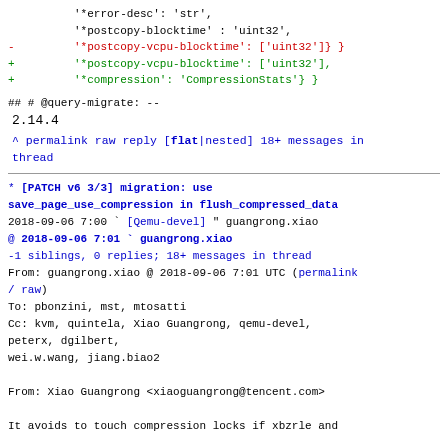Code diff block showing '*error-desc', '*postcopy-blocktime', '*postcopy-vcpu-blocktime', and '*compression' entries
##
# @query-migrate:
--
2.14.4
^ permalink raw reply [flat|nested] 18+ messages in thread
* [PATCH v6 3/3] migration: use save_page_use_compression in flush_compressed_data
  2018-09-06  7:00  ` [Qemu-devel] " guangrong.xiao
@ 2018-09-06  7:01   ` guangrong.xiao
  -1 siblings, 0 replies; 18+ messages in thread
From: guangrong.xiao @ 2018-09-06  7:01 UTC (permalink / raw)
   To: pbonzini, mst, mtosatti
   Cc: kvm, quintela, Xiao Guangrong, qemu-devel, peterx, dgilbert,
       wei.w.wang, jiang.biao2

From: Xiao Guangrong <xiaoguangrong@tencent.com>

It avoids to touch compression locks if xbzrle and